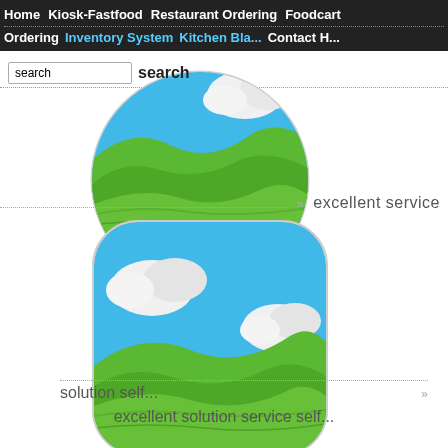Home  Kiosk-Fastfood  Restaurant Ordering  Foodcart
Ordering  Inventory System  Kitchen Bla...  Contact H...
search   search
[Figure (illustration): Circular app icon showing blue sky with white clouds and green rolling hills, partially cropped at top]
»  excellent service
[Figure (illustration): Rounded square app icon showing blue sky with white clouds and green rolling hills]
solution self...   »
excellent solution service self...